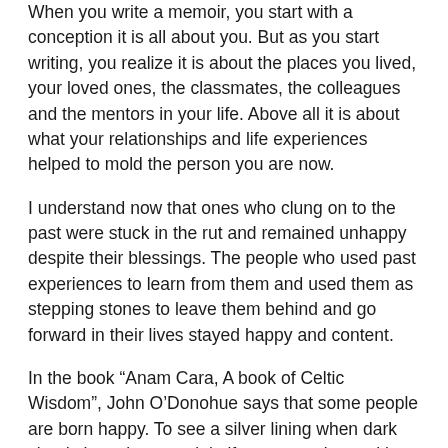When you write a memoir, you start with a conception it is all about you. But as you start writing, you realize it is about the places you lived, your loved ones, the classmates, the colleagues and the mentors in your life. Above all it is about what your relationships and life experiences helped to mold the person you are now.
I understand now that ones who clung on to the past were stuck in the rut and remained unhappy despite their blessings. The people who used past experiences to learn from them and used them as stepping stones to leave them behind and go forward in their lives stayed happy and content.
In the book “Anam Cara, A book of Celtic Wisdom”, John O’Donohue says that some people are born happy. To see a silver lining when dark clouds loom is a special gift some are born with. Yet, we can all cultivate happiness. That is what I learned while writing this memoir.